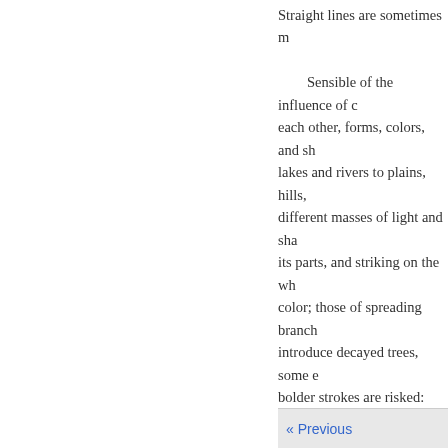Straight lines are sometimes m...
Sensible of the influence of c... each other, forms, colors, and sh... lakes and rivers to plains, hills, ... different masses of light and sha... its parts, and striking on the wh... color; those of spreading branch... introduce decayed trees, some e... bolder strokes are risked: they s... seemingly rent by tempests, or b... relieve the mind from the harsh... more, are doubly regretted by y... in the metaphorical as well as li... storms, and cultivates the plants... cannot retire into the Stoic's wal... philosopher who will rigidly pr... cypress-shade."
Taste has suggested to Kent th... and also in a pensive or sedate s... personification.
« Previous